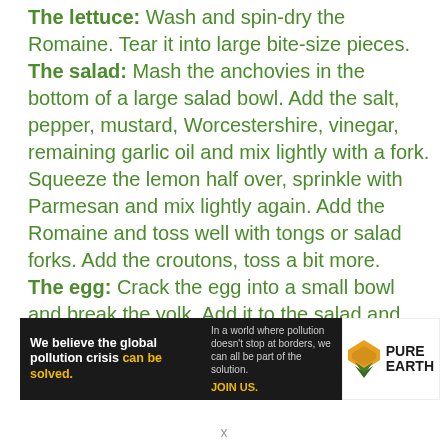The lettuce: Wash and spin-dry the Romaine. Tear it into large bite-size pieces.
The salad: Mash the anchovies in the bottom of a large salad bowl. Add the salt, pepper, mustard, Worcestershire, vinegar, remaining garlic oil and mix lightly with a fork. Squeeze the lemon half over, sprinkle with Parmesan and mix lightly again. Add the Romaine and toss well with tongs or salad forks. Add the croutons, toss a bit more.
The egg: Crack the egg into a small bowl and break the yolk. Add it to the salad and toss well
[Figure (infographic): Pure Earth advertisement banner. Black background on left with text 'We believe the global pollution crisis can be solved.' and smaller text 'In a world where pollution doesn't stop at borders, we can all be part of the solution. JOIN US.' Right side white with Pure Earth logo (orange/yellow diamond shape with chevron) and text 'PURE EARTH'.]
x